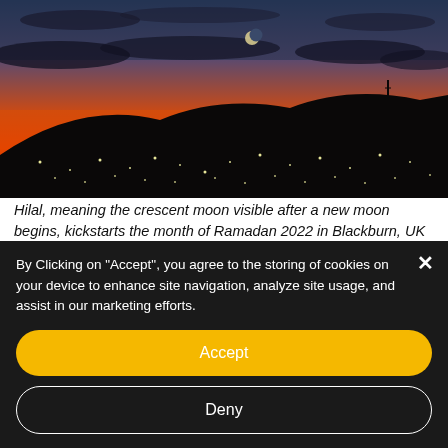[Figure (photo): Sunset/twilight cityscape photo with crescent moon visible in sky, silhouette of hills and city lights below, dramatic orange and red sky gradient]
Hilal, meaning the crescent moon visible after a new moon begins, kickstarts the month of Ramadan 2022 in Blackburn, UK (Image: Faizal Mulla, Supply Chain Manager at Wejo)
By Clicking on "Accept", you agree to the storing of cookies on your device to enhance site navigation, analyze site usage, and assist in our marketing efforts.
Accept
Deny